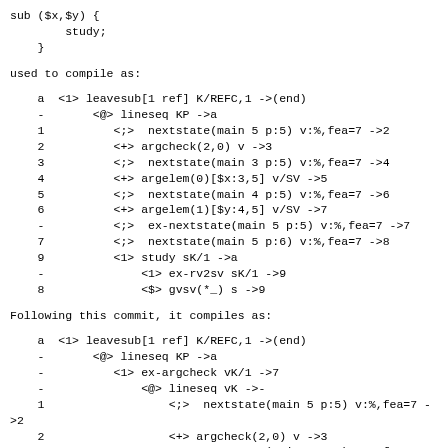sub ($x,$y) {
        study;
    }
used to compile as:
a  <1> leavesub[1 ref] K/REFC,1 ->(end)
    -       <@> lineseq KP ->a
    1          <;> nextstate(main 5 p:5) v:%,fea=7 ->2
    2          <+> argcheck(2,0) v ->3
    3          <;> nextstate(main 3 p:5) v:%,fea=7 ->4
    4          <+> argelem(0)[$x:3,5] v/SV ->5
    5          <;> nextstate(main 4 p:5) v:%,fea=7 ->6
    6          <+> argelem(1)[$y:4,5] v/SV ->7
    -          <;> ex-nextstate(main 5 p:5) v:%,fea=7 ->7
    7          <;> nextstate(main 5 p:6) v:%,fea=7 ->8
    9          <1> study sK/1 ->a
    -              <1> ex-rv2sv sK/1 ->9
    8              <$> gvsv(*_) s ->9
Following this commit, it compiles as:
a  <1> leavesub[1 ref] K/REFC,1 ->(end)
    -       <@> lineseq KP ->a
    -          <1> ex-argcheck vK/1 ->7
    -              <@> lineseq vK ->-
    1                  <;> nextstate(main 5 p:5) v:%,fea=7 ->2
    2                  <+> argcheck(2,0) v ->3
    3                  <;> nextstate(main 3 p:5) v:%,fea=7 ->4
    4                  <+> argelem(0)[$x:3,5] v/SV ->5
    5                  <;> nextstate(main 4 p:5) v:%,fea=7 -